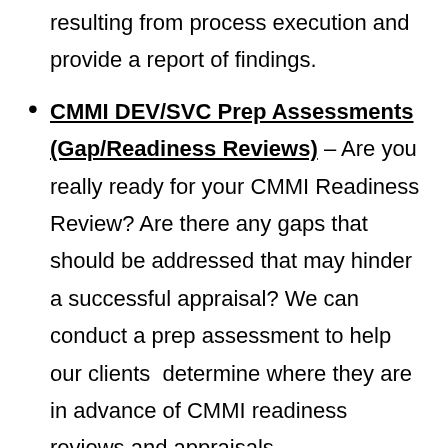resulting from process execution and provide a report of findings.
CMMI DEV/SVC Prep Assessments (Gap/Readiness Reviews) – Are you really ready for your CMMI Readiness Review? Are there any gaps that should be addressed that may hinder a successful appraisal? We can conduct a prep assessment to help our clients determine where they are in advance of CMMI readiness reviews and appraisals.
CMMI Appraisal Team Member (ATM) Augmentation – Do you have the requisite number of resources to support CMMI